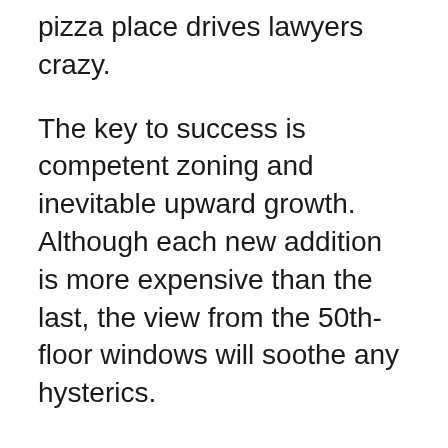pizza place drives lawyers crazy.
The key to success is competent zoning and inevitable upward growth. Although each new addition is more expensive than the last, the view from the 50th-floor windows will soothe any hysterics.
After mastering all this wisdom, you can move on to scenarios. There are few really unusual ones among them, but with a few simple restrictions and rules, SomaSim was able to make the tasks interesting.
One has almost no government contracts, another has an awkward iron-shaped building zone, and a third requires finishing a 40-story skyscraper behind a hapless